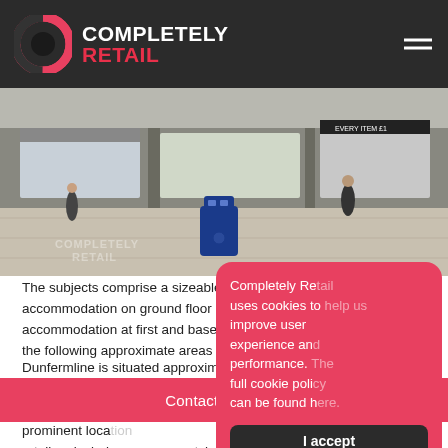COMPLETELY RETAIL
[Figure (photo): Street scene showing a pedestrianised shopping area with people walking, shop fronts visible, and a blue rubbish bin in the centre foreground. A 'COMPLETELY RETAIL' watermark is visible on the image.]
The subjects comprise a sizeable fitted re... accommodation on ground floor level wit... accommodation at first and basement lev... the following approximate areas and dim...
Dunfermline is situated approximately 15 m... Edinburgh and is the largest town in weste... of approximately 50,000 persons. The p... prominent loca... retailers include... etcher and Savers.
Completely Re... uses cookies to improve user experience and performance. The full cookie poli... can be found h...
I accept
I do not ac
Contact an agent